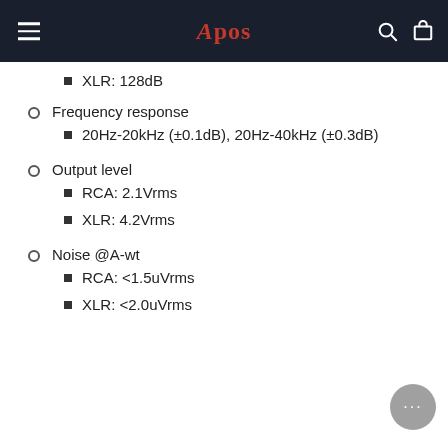Apos
XLR: 128dB
Frequency response
20Hz-20kHz (±0.1dB), 20Hz-40kHz (±0.3dB)
Output level
RCA: 2.1Vrms
XLR: 4.2Vrms
Noise @A-wt
RCA: <1.5uVrms
XLR: <2.0uVrms